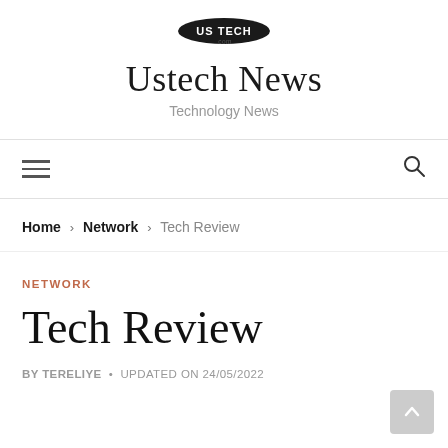Ustech News — Technology News
[Figure (logo): USTECH .com logo — oval badge with bold tech-styled lettering]
Ustech News
Technology News
[Figure (infographic): Navigation bar with hamburger menu icon on the left and search (magnifying glass) icon on the right]
Home > Network > Tech Review
NETWORK
Tech Review
BY TERELIYE • UPDATED ON 24/05/2022